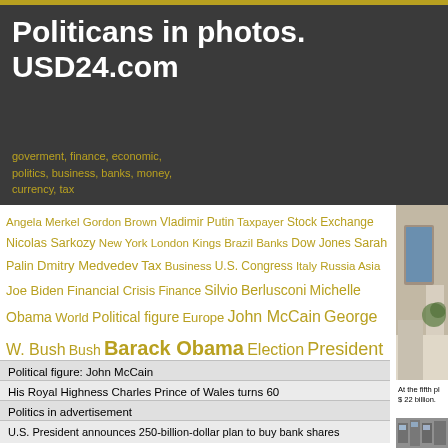Politicans in photos. USD24.com
goverment, finance, economic, politics, business, banks, money, currency, tax
Angela Merkel Gordon Brown Vladimir Putin Taxpayer Stock Exchange Nicolas Sarkozy New York London Kings Brazil Banks Dow Jones Sarah Palin Dmitry Medvedev Tax Business U.S. Congress Italy Russia Asia Joe Biden Financial Crisis Finance Silvio Berlusconi Michelle Obama World Political figure Europe John McCain George W. Bush Bush Barack Obama Election President U.S. President US Politics
Political figure: John McCain
His Royal Highness Charles Prince of Wales turns 60
Politics in advertisement
U.S. President announces 250-billion-dollar plan to buy bank shares
Welcome to the White House
Short story of presidential race in U.S.A.
Parliamentary elections in Iraq
Top of the richest people in the world 2009
U.S. President Barack Obama in Russia
[Figure (photo): Photo of a room with a bed, curtains, and a plant visible through a window, partially visible on the right side of the page]
At the fifth pl $ 22 billion.
[Figure (photo): Photo of a building exterior, partially visible at bottom right]